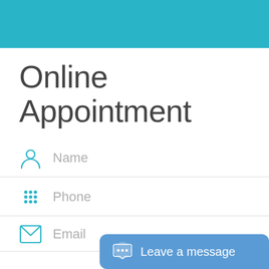[Figure (other): Teal/cyan horizontal header bar at top of page]
Online Appointment
[Figure (other): Person silhouette icon in teal next to Name field]
Name
[Figure (other): Phone keypad dots icon in teal next to Phone field]
Phone
[Figure (other): Envelope/email icon in teal next to Email field]
Email
[Figure (other): Blue chat bubble overlay with speech bubble icon and text 'Leave a message']
Leave a message